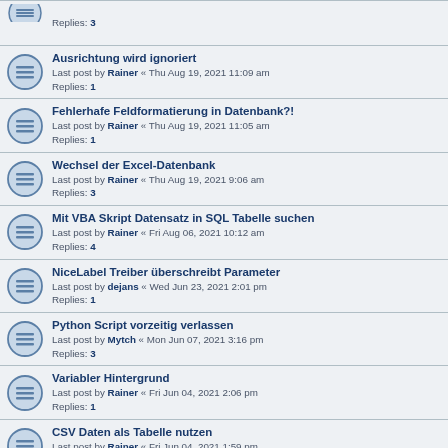Replies: 3
Ausrichtung wird ignoriert
Last post by Rainer « Thu Aug 19, 2021 11:09 am
Replies: 1
Fehlerhafe Feldformatierung in Datenbank?!
Last post by Rainer « Thu Aug 19, 2021 11:05 am
Replies: 1
Wechsel der Excel-Datenbank
Last post by Rainer « Thu Aug 19, 2021 9:06 am
Replies: 3
Mit VBA Skript Datensatz in SQL Tabelle suchen
Last post by Rainer « Fri Aug 06, 2021 10:12 am
Replies: 4
NiceLabel Treiber überschreibt Parameter
Last post by dejans « Wed Jun 23, 2021 2:01 pm
Replies: 1
Python Script vorzeitig verlassen
Last post by Mytch « Mon Jun 07, 2021 3:16 pm
Replies: 3
Variabler Hintergrund
Last post by Rainer « Fri Jun 04, 2021 2:06 pm
Replies: 1
CSV Daten als Tabelle nutzen
Last post by Rainer « Fri Jun 04, 2021 1:59 pm
Replies: 1
Mehrere Etiketten aus einer Lösung drucken
Last post by Rainer « Thu May 27, 2021 2:01 pm
Replies: 1